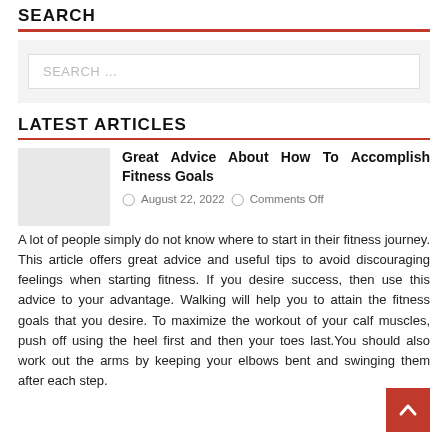SEARCH
[Figure (screenshot): Search input box with placeholder text 'SEARCH ...' on a light gray background]
LATEST ARTICLES
[Figure (photo): Thumbnail placeholder image (light gray rectangle)]
Great Advice About How To Accomplish Fitness Goals
August 22, 2022   Comments Off
A lot of people simply do not know where to start in their fitness journey. This article offers great advice and useful tips to avoid discouraging feelings when starting fitness. If you desire success, then use this advice to your advantage. Walking will help you to attain the fitness goals that you desire. To maximize the workout of your calf muscles, push off using the heel first and then your toes last.You should also work out the arms by keeping your elbows bent and swinging them after each step.